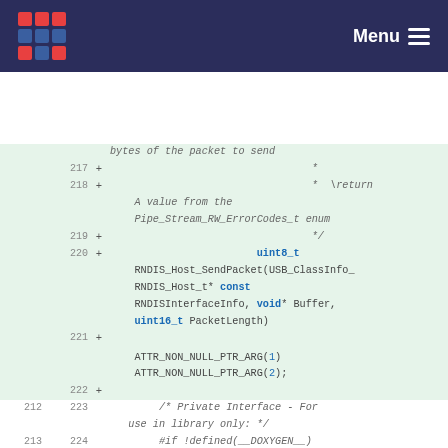Menu
[Figure (screenshot): Code diff viewer showing C source code lines 217-225 with additions (green background) and context lines. Shows RNDIS_Host_SendPacket function signature with uint8_t return type, USB_ClassInfo_RNDIS_Host_t* const RNDISInterfaceInfo, void* Buffer, uint16_t PacketLength parameters, ATTR_NON_NULL_PTR_ARG macros, and Private Interface comment.]